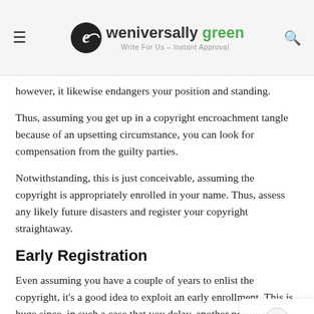eweniversally green — Write For Us – Instant Approval
however, it likewise endangers your position and standing.
Thus, assuming you get up in a copyright encroachment tangle because of an upsetting circumstance, you can look for compensation from the guilty parties.
Notwithstanding, this is just conceivable, assuming the copyright is appropriately enrolled in your name. Thus, assess any likely future disasters and register your copyright straightaway.
Early Registration
Even assuming you have a couple of years to enlist the copyright, it's a good idea to exploit an early enrollment. This is huge since, in such a case that you delay, another person might dive in and register something indistinguishable in their name.